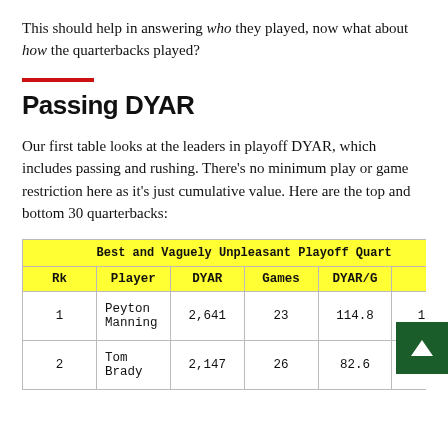This should help in answering who they played, now what about how the quarterbacks played?
Passing DYAR
Our first table looks at the leaders in playoff DYAR, which includes passing and rushing. There's no minimum play or game restriction here as it's just cumulative value. Here are the top and bottom 30 quarterbacks:
| Rk | Player | DYAR | Games | DYAR/G |  |
| --- | --- | --- | --- | --- | --- |
| 1 | Peyton Manning | 2,641 | 23 | 114.8 | 125 |
| 2 | Tom Brady | 2,147 | 26 | 82.6 | 126 |